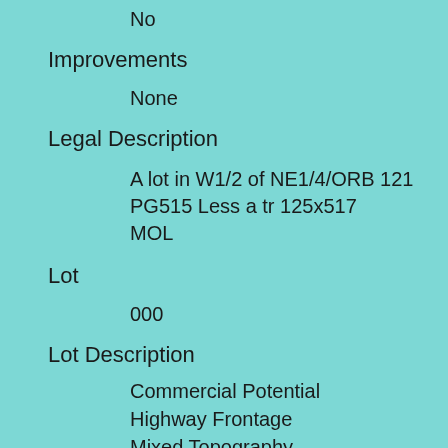No
Improvements
None
Legal Description
A lot in W1/2 of NE1/4/ORB 121 PG515 Less a tr 125x517 MOL
Lot
000
Lot Description
Commercial Potential
Highway Frontage
Mixed Topography
Lot Dim Approx
480x516